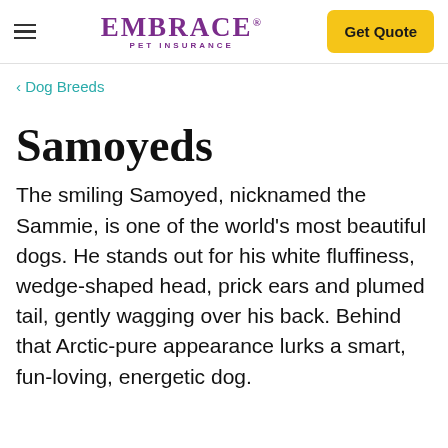EMBRACE PET INSURANCE | Get Quote
< Dog Breeds
Samoyeds
The smiling Samoyed, nicknamed the Sammie, is one of the world's most beautiful dogs. He stands out for his white fluffiness, wedge-shaped head, prick ears and plumed tail, gently wagging over his back. Behind that Arctic-pure appearance lurks a smart, fun-loving, energetic dog.